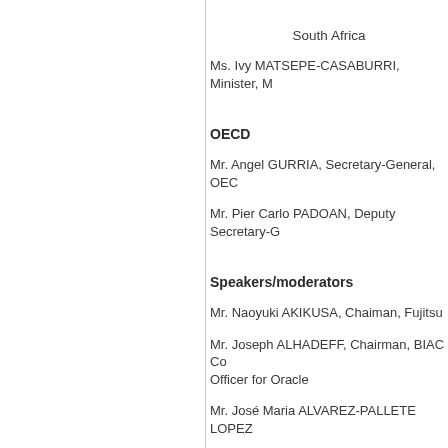South Africa
Ms. Ivy MATSEPE-CASABURRI, Minister, M...
OECD
Mr. Angel GURRIA, Secretary-General, OECD...
Mr. Pier Carlo PADOAN, Deputy Secretary-G...
Speakers/moderators
Mr. Naoyuki AKIKUSA, Chaiman, Fujitsu
Mr. Joseph ALHADEFF, Chairman, BIAC Co... Officer for Oracle
Mr. José Maria ALVAREZ-PALLETE LOPEZ...
Mr. Tadahiro ASAMI, Secretary General, BIA...
Ms. Mitchell BAKER, Chairman, Mozilla Fo...